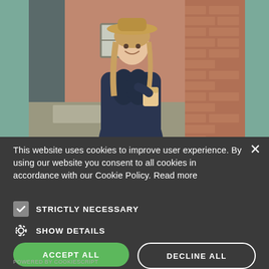[Figure (photo): Woman in dark navy puffer coat and tan wide-brim hat, holding a coffee cup, standing outside a brick building on a stone path. Background shows a red brick wall and a grey-painted wooden structure. The photo has a muted, cold-day outdoor ambiance.]
This website uses cookies to improve user experience. By using our website you consent to all cookies in accordance with our Cookie Policy. Read more
STRICTLY NECESSARY
SHOW DETAILS
ACCEPT ALL
DECLINE ALL
POWERED BY COOKIESCRIPT